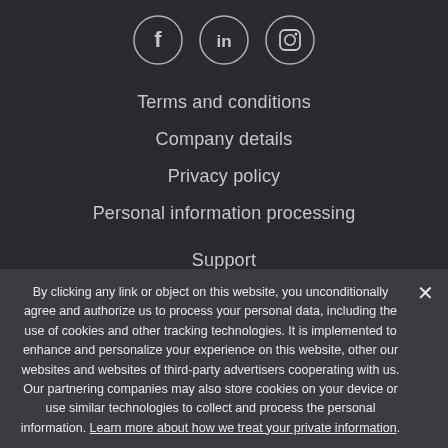[Figure (illustration): Three social media icons in circles: Facebook (f), LinkedIn (in), Instagram (camera)]
Terms and conditions
Company details
Privacy policy
Personal information processing
Support
Registration
Articles and reviews
Switch language: EN: English
By clicking any link or object on this website, you unconditionally agree and authorize us to process your personal data, including the use of cookies and other tracking technologies. It is implemented to enhance and personalize your experience on this website, other our websites and websites of third-party advertisers cooperating with us. Our partnering companies may also store cookies on your device or use similar technologies to collect and process the personal information. Learn more about how we treat your private information.